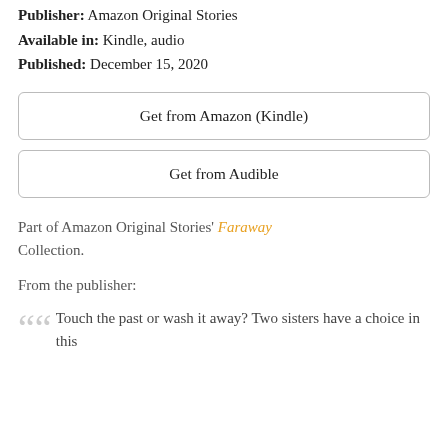Publisher: Amazon Original Stories
Available in: Kindle, audio
Published: December 15, 2020
Get from Amazon (Kindle)
Get from Audible
Part of Amazon Original Stories' Faraway Collection.
From the publisher:
Touch the past or wash it away? Two sisters have a choice in this